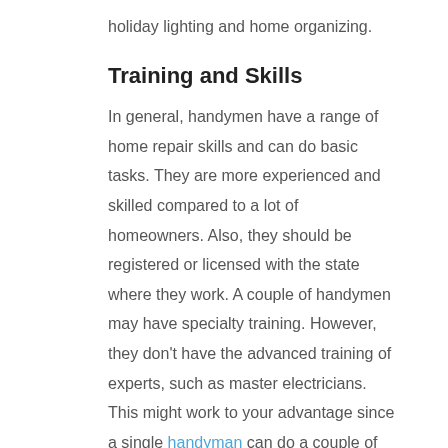holiday lighting and home organizing.
Training and Skills
In general, handymen have a range of home repair skills and can do basic tasks. They are more experienced and skilled compared to a lot of homeowners. Also, they should be registered or licensed with the state where they work. A couple of handymen may have specialty training. However, they don't have the advanced training of experts, such as master electricians. This might work to your advantage since a single handyman can do a couple of tasks that will need several experts. This will save you time and money.
Knowing the Tree Company that You